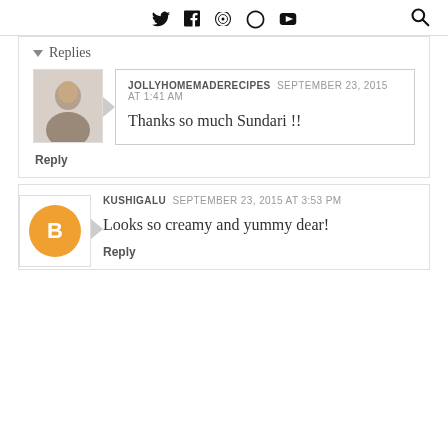Twitter Facebook Pinterest Instagram YouTube [search]
Replies
[Figure (photo): Small avatar photo of a woman]
JOLLYHOMEMADERECIPES  SEPTEMBER 23, 2015 AT 1:41 AM
Thanks so much Sundari !!
Reply
[Figure (logo): Orange circle with Blogger B icon]
KUSHIGALU  SEPTEMBER 23, 2015 AT 3:53 PM
Looks so creamy and yummy dear!
Reply